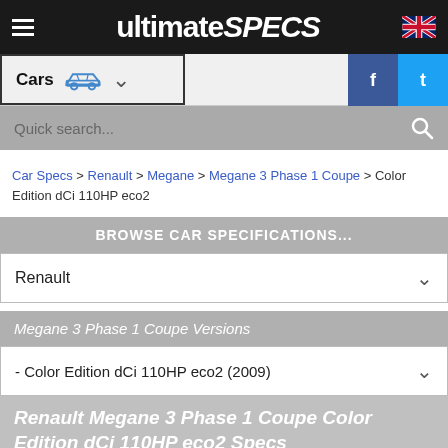ultimateSPECS
Cars
Quick search...
Car Specs > Renault > Megane > Megane 3 Phase 1 Coupe > Color Edition dCi 110HP eco2
BROWSE CAR SPECIFICATIONS...
Renault
Megane 3 Phase 1 Coupe Versions
- Color Edition dCi 110HP eco2 (2009)
Renault Megane 3 Phase 1 Coupe Color Edition dCi 110HP eco2 Specs
(2009 - 2012) - Technical Specifications for Years 2009, 2010, 2011, 2012
COMPARE WITH ANOTHER CAR